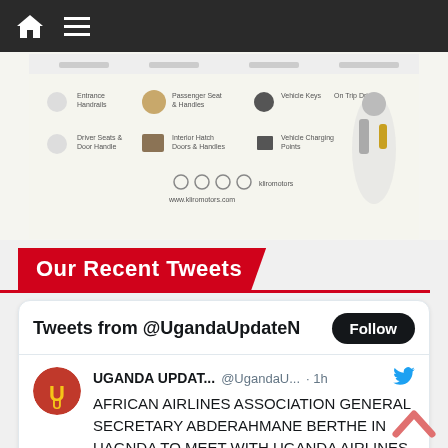Navigation bar with home icon and menu icon
[Figure (screenshot): Advertisement or infographic showing vehicle sanitization service with icons for various touchpoints including Entrance Handrails, Passenger Seat & Handles, Vehicle Keys, On Trip Driver, Driver Seats & Door Handle, Interior Hatch Doors & Handles, Vehicle Charging Points, with website www.kliramoto.com]
Our Recent Tweets
Tweets from @UgandaUpdateN
UGANDA UPDAT... @UgandaU... · 1h
AFRICAN AIRLINES ASSOCIATION GENERAL SECRETARY ABDERAHMANE BERTHE IN UAGNDA TO MEET WITH UGANDA AIRLINES CEO BAMUTURAKI
ugandaupdatenews.com/african-airlin...